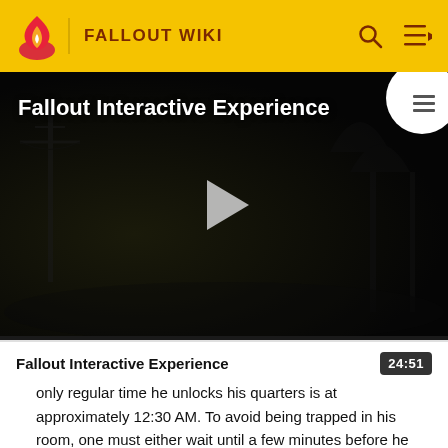FALLOUT WIKI
[Figure (screenshot): Fallout Interactive Experience video thumbnail showing a dark post-apocalyptic scene with a play button in the center and a table-of-contents button in the top right corner.]
Fallout Interactive Experience
only regular time he unlocks his quarters is at approximately 12:30 AM. To avoid being trapped in his room, one must either wait until a few minutes before he unlocks the door again or pick the lock (which